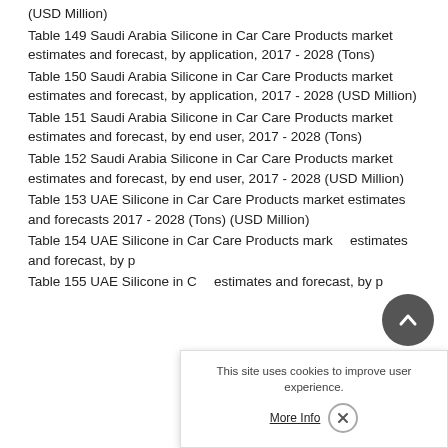(USD Million)
Table 149 Saudi Arabia Silicone in Car Care Products market estimates and forecast, by application, 2017 - 2028 (Tons)
Table 150 Saudi Arabia Silicone in Car Care Products market estimates and forecast, by application, 2017 - 2028 (USD Million)
Table 151 Saudi Arabia Silicone in Car Care Products market estimates and forecast, by end user, 2017 - 2028 (Tons)
Table 152 Saudi Arabia Silicone in Car Care Products market estimates and forecast, by end user, 2017 - 2028 (USD Million)
Table 153 UAE Silicone in Car Care Products market estimates and forecasts 2017 - 2028 (Tons) (USD Million)
Table 154 UAE Silicone in Car Care Products market estimates and forecast, by p…
Table 155 UAE Silicone in C… estimates and forecast, by p…